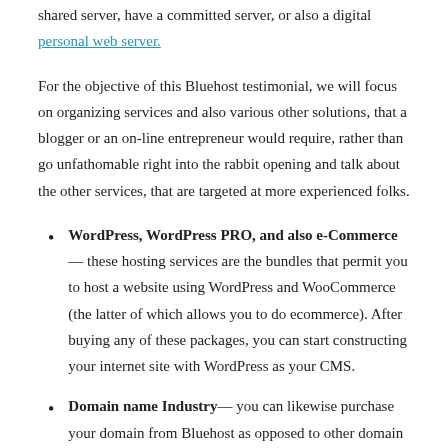shared server, have a committed server, or also a digital personal web server.
For the objective of this Bluehost testimonial, we will focus on organizing services and also various other solutions, that a blogger or an on-line entrepreneur would require, rather than go unfathomable right into the rabbit opening and talk about the other services, that are targeted at more experienced folks.
WordPress, WordPress PRO, and also e-Commerce— these hosting services are the bundles that permit you to host a website using WordPress and WooCommerce (the latter of which allows you to do ecommerce). After buying any of these packages, you can start constructing your internet site with WordPress as your CMS.
Domain name Industry— you can likewise purchase your domain from Bluehost as opposed to other domain registrars. Doing so will make it less complicated to direct your domain to your host's name servers, given that you're